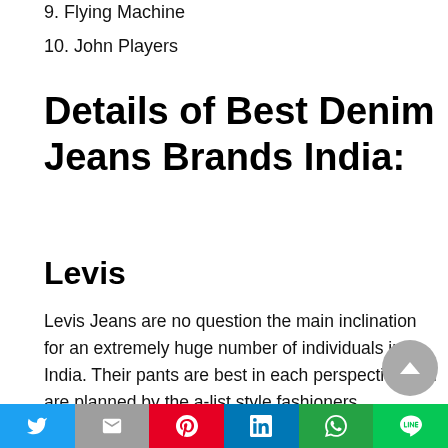9. Flying Machine
10. John Players
Details of Best Denim Jeans Brands India:
Levis
Levis Jeans are no question the main inclination for an extremely huge number of individuals in India. Their pants are best in each perspective and are planned by the a-list style fashioners.
Levi's is liable for the blast of Levis in each edge of